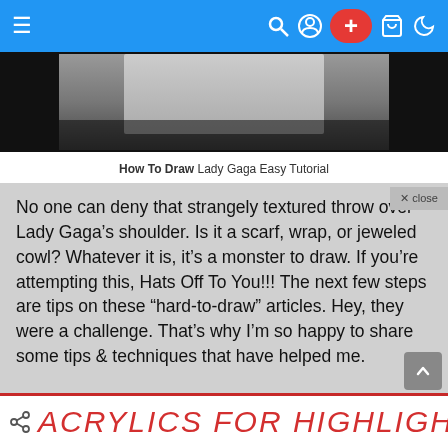≡  🔍  👤  +  🛒  ◗
[Figure (photo): Black and white partial portrait photo of Lady Gaga on a dark background]
How To Draw Lady Gaga Easy Tutorial
No one can deny that strangely textured throw over Lady Gaga's shoulder. Is it a scarf, wrap, or jeweled cowl? Whatever it is, it's a monster to draw. If you're attempting this, Hats Off To You!!! The next few steps are tips on these "hard-to-draw" articles. Hey, they were a challenge. That's why I'm so happy to share some tips & techniques that have helped me.
[Figure (screenshot): Bottom banner with red border showing 'ACRYLICS FOR HIGHLIGHTS' text in red italic letters with a share icon on the left]